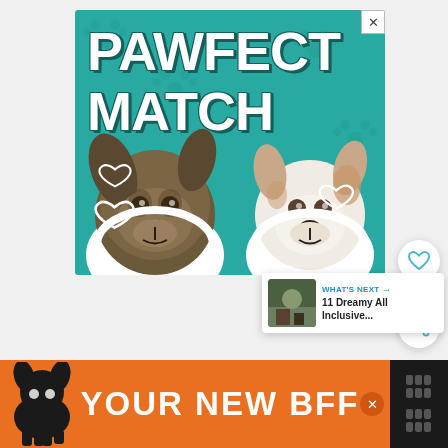[Figure (illustration): Advertisement banner for 'PAWFECT MATCH' featuring two dogs (a dark brindle shepherd mix and a white whippet/terrier mix) on a teal background with heart outlines, and an X close button in the top right corner]
36.2K
[Figure (illustration): What's Next thumbnail showing a small image of outdoor/travel content with label 'WHAT'S NEXT →' and text '11 Dreamy All Inclusive...']
WHAT'S NEXT → 11 Dreamy All Inclusive...
[Figure (illustration): Bottom banner advertisement in orange with a black and white dog silhouette on the left and text 'YOUR NEW BFF' in white bold letters, with a close button and dark right panel with icons]